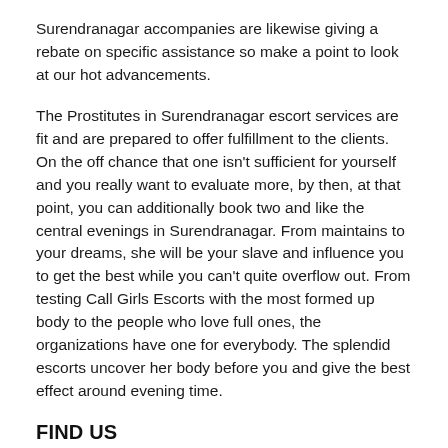Surendranagar accompanies are likewise giving a rebate on specific assistance so make a point to look at our hot advancements.
The Prostitutes in Surendranagar escort services are fit and are prepared to offer fulfillment to the clients. On the off chance that one isn't sufficient for yourself and you really want to evaluate more, by then, at that point, you can additionally book two and like the central evenings in Surendranagar. From maintains to your dreams, she will be your slave and influence you to get the best while you can't quite overflow out. From testing Call Girls Escorts with the most formed up body to the people who love full ones, the organizations have one for everybody. The splendid escorts uncover her body before you and give the best effect around evening time.
FIND US